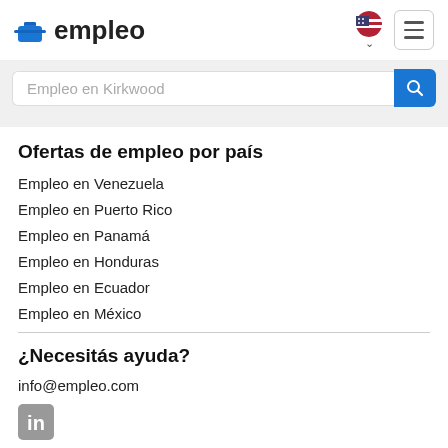empleo
Empleo en Kirkwood
Ofertas de empleo por país
Empleo en Venezuela
Empleo en Puerto Rico
Empleo en Panamá
Empleo en Honduras
Empleo en Ecuador
Empleo en México
¿Necesitás ayuda?
info@empleo.com